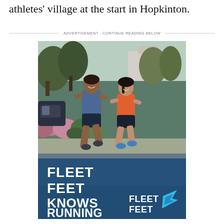athletes' village at the start in Hopkinton.
ADVERTISEMENT - CONTINUE READING BELOW
[Figure (photo): Fleet Feet advertisement showing two runners (a man in a blue tank top and a woman in an orange top) jogging on a suburban street with trees and shrubs in the background. Text overlay reads 'FLEET FEET KNOWS RUNNING' with the Fleet Feet logo in the lower right.]